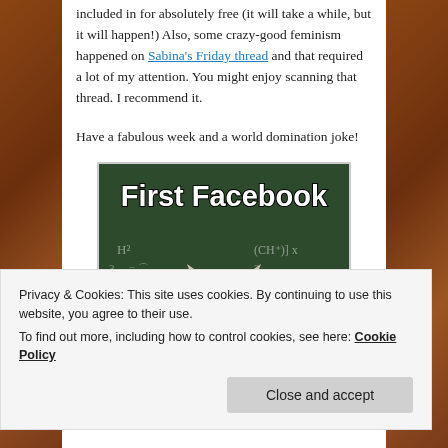included in for absolutely free (it will take a while, but it will happen!) Also, some crazy-good feminism happened on Sabina's Friday thread and that required a lot of my attention. You might enjoy scanning that thread. I recommend it.
Have a fabulous week and a world domination joke!
[Figure (photo): Meme image showing a white cat wearing glasses and a red bow tie, sitting in front of a chalkboard with math equations. Text at top reads 'First Facebook' in large white Impact font with black outline.]
Privacy & Cookies: This site uses cookies. By continuing to use this website, you agree to their use.
To find out more, including how to control cookies, see here: Cookie Policy
Close and accept